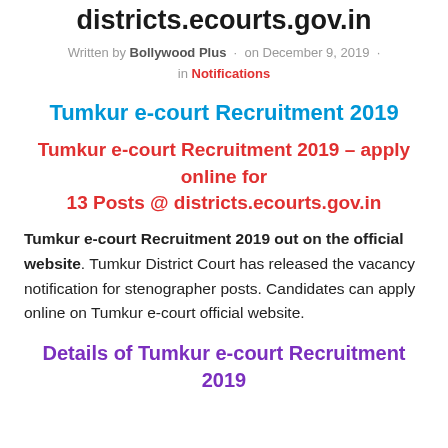districts.ecourts.gov.in
Written by Bollywood Plus · on December 9, 2019 · in Notifications
Tumkur e-court Recruitment 2019
Tumkur e-court Recruitment 2019 – apply online for 13 Posts @ districts.ecourts.gov.in
Tumkur e-court Recruitment 2019 out on the official website. Tumkur District Court has released the vacancy notification for stenographer posts. Candidates can apply online on Tumkur e-court official website.
Details of Tumkur e-court Recruitment 2019